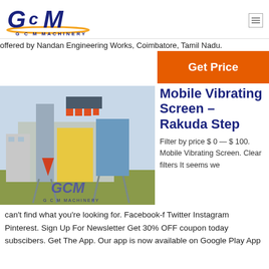[Figure (logo): GCM Machinery logo with stylized GCM text in dark blue italic and yellow arc underline, with 'G C M  MACHINERY' text below]
offered by Nandan Engineering Works, Coimbatore, Tamil Nadu.
Get Price
[Figure (photo): Industrial mobile vibrating screen machinery plant with metal structure, hoppers, and GCM Machinery watermark]
Mobile Vibrating Screen – Rakuda Step
Filter by price $ 0 — $ 100. Mobile Vibrating Screen. Clear filters It seems we
can't find what you're looking for. Facebook-f Twitter Instagram Pinterest. Sign Up For Newsletter Get 30% OFF coupon today subscibers. Get The App. Our app is now available on Google Play App